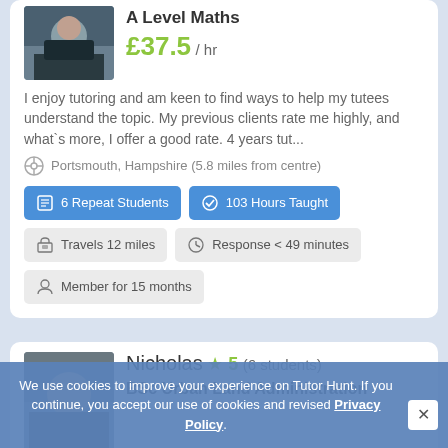A Level Maths
£37.5 / hr
I enjoy tutoring and am keen to find ways to help my tutees understand the topic. My previous clients rate me highly, and what`s more, I offer a good rate. 4 years tut...
Portsmouth, Hampshire (5.8 miles from centre)
6 Repeat Students
103 Hours Taught
Travels 12 miles
Response < 49 minutes
Member for 15 months
Nicholas
5 (6 students)
BSc Urban Land Administration
We use cookies to improve your experience on Tutor Hunt. If you continue, you accept our use of cookies and revised Privacy Policy.